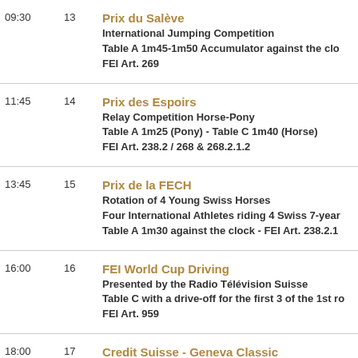09:30 | 13 | Prix du Salève | International Jumping Competition | Table A 1m45-1m50 Accumulator against the clock | FEI Art. 269
11:45 | 14 | Prix des Espoirs | Relay Competition Horse-Pony | Table A 1m25 (Pony) - Table C 1m40 (Horse) | FEI Art. 238.2 / 268 & 268.2.1.2
13:45 | 15 | Prix de la FECH | Rotation of 4 Young Swiss Horses | Four International Athletes riding 4 Swiss 7-year | Table A 1m30 against the clock - FEI Art. 238.2.1
16:00 | 16 | FEI World Cup Driving | Presented by the Radio Télévision Suisse | Table C with a drive-off for the first 3 of the 1st round | FEI Art. 959
18:00 | 17 | Credit Suisse - Geneva Classic | International Jumping Competition | Table A 1m50 with one jump-off | FEI Art. ...